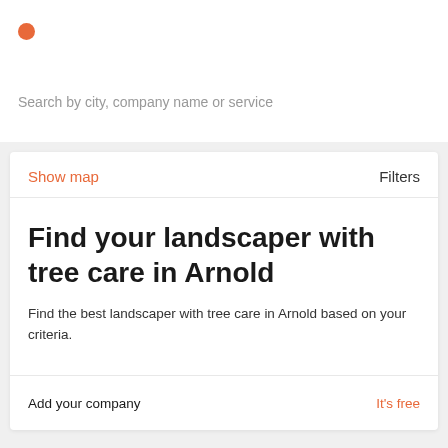●
Search by city, company name or service
Show map
Filters
Find your landscaper with tree care in Arnold
Find the best landscaper with tree care in Arnold based on your criteria.
Add your company
It's free